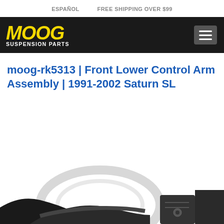ESPAÑOL   FREE SHIPPING OVER $99
[Figure (logo): MOOG Suspension Parts logo — MOOG in large bold italic yellow text, SUSPENSION PARTS in white below]
moog-rk5313 | Front Lower Control Arm Assembly | 1991-2002 Saturn SL
[Figure (photo): Partial product photo of a front lower control arm assembly part at bottom of page]